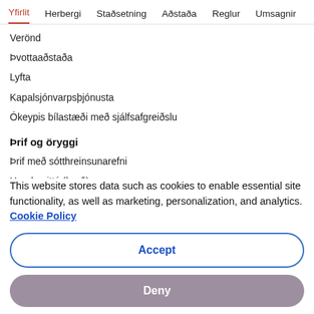Yfirlit  Herbergi  Staðsetning  Aðstaða  Reglur  Umsagnir
Verönd
Þvottaaðstaða
Lyfta
Kapalsjónvarpsþjónusta
Ókeypis bílastæði með sjálfsafgreiðslu
Þrif og öryggi
Þrif með sótthreinsunarefni
Handsprittó (bæð)
This website stores data such as cookies to enable essential site functionality, as well as marketing, personalization, and analytics. Cookie Policy
Accept
Deny